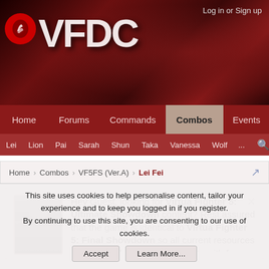[Figure (screenshot): VFDC website header banner with logo and fighting game imagery]
Log in or Sign up
Home | Forums | Commands | Combos | Events
Lei | Lion | Pai | Sarah | Shun | Taka | Vanessa | Wolf | ...
Home > Combos > VF5FS (Ver.A) > Lei Fei
Hey Guest, looking for Virtua Fighter 5: Ultimate Showdown content? Rest assured that the game is identical to Virtua Fighter 5: Final Showdown so all current resources on here such as Command Lists with frame data, Combo Lists and the Wiki still apply. However, you
This site uses cookies to help personalise content, tailor your experience and to keep you logged in if you register.
By continuing to use this site, you are consenting to our use of cookies.
Accept
Learn More...